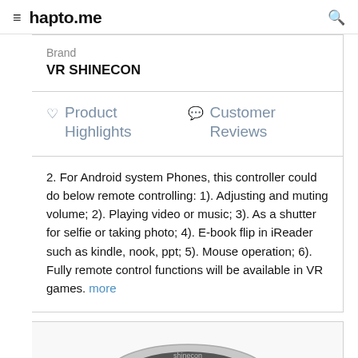hapto.me
Brand
VR SHINECON
Product Highlights   Customer Reviews
2. For Android system Phones, this controller could do below remote controlling: 1). Adjusting and muting volume; 2). Playing video or music; 3). As a shutter for selfie or taking photo; 4). E-book flip in iReader such as kindle, nook, ppt; 5). Mouse operation; 6). Fully remote control functions will be available in VR games. more